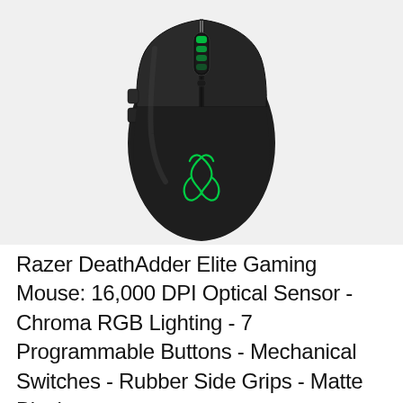[Figure (photo): Top-down view of a Razer DeathAdder Elite gaming mouse in matte black with green Razer snake logo on the palm area and green RGB lighting on the scroll wheel, against a light gray background.]
Razer DeathAdder Elite Gaming Mouse: 16,000 DPI Optical Sensor - Chroma RGB Lighting - 7 Programmable Buttons - Mechanical Switches - Rubber Side Grips - Matte Black